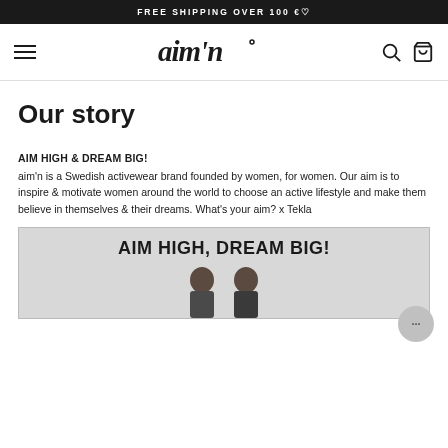FREE SHIPPING OVER 100 €♡
[Figure (logo): aim'n brand logo with hamburger menu, search icon, and shopping bag icon in navigation bar]
Our story
AIM HIGH & DREAM BIG!
aim'n is a Swedish activewear brand founded by women, for women. Our aim is to inspire & motivate women around the world to choose an active lifestyle and make them believe in themselves & their dreams. What's your aim? x Tekla
[Figure (photo): Promotional image with bold text 'AIM HIGH, DREAM BIG!' and two women with dark hair at the bottom]